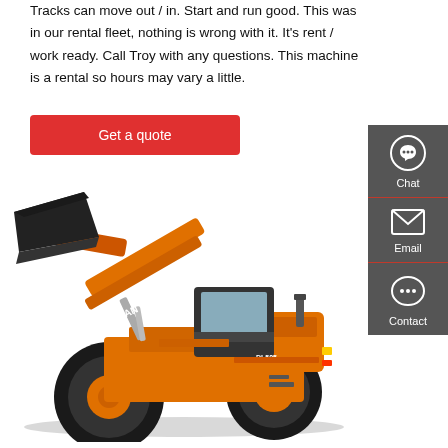Tracks can move out / in. Start and run good. This was in our rental fleet, nothing is wrong with it. It's rent / work ready. Call Troy with any questions. This machine is a rental so hours may vary a little.
Get a quote
[Figure (other): Sidebar with Chat, Email, and Contact icons on dark grey background]
[Figure (photo): Doosan DL505 wheel loader in orange, shown in side profile with bucket raised, on white background]